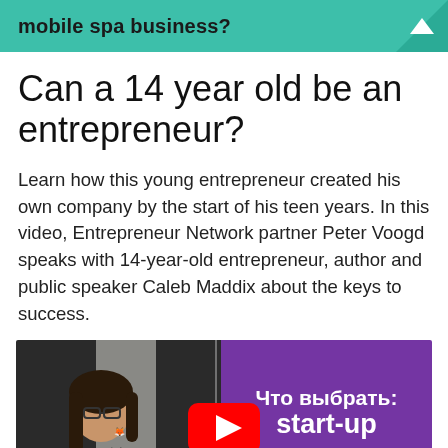mobile spa business?
Can a 14 year old be an entrepreneur?
Learn how this young entrepreneur created his own company by the start of his teen years. In this video, Entrepreneur Network partner Peter Voogd speaks with 14-year-old entrepreneur, author and public speaker Caleb Maddix about the keys to success.
[Figure (screenshot): Video thumbnail showing a man with glasses and dark hair on the left side against a dark background with a mind/learning logo, and on the right a purple background with Russian text 'Что выбрать: start-up или' in white bold font. A YouTube play button is centered over the thumbnail.]